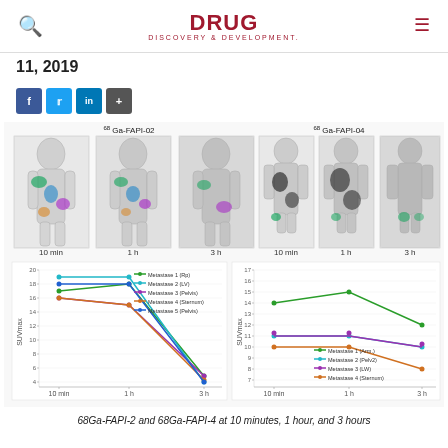DRUG DISCOVERY & DEVELOPMENT
11, 2019
[Figure (medical-imaging-and-line-chart): PET scan images of 68Ga-FAPI-02 and 68Ga-FAPI-04 at 10 min, 1 h, and 3 h timepoints, with corresponding SUVmax line charts for multiple metastases over time.]
68Ga-FAPI-2 and 68Ga-FAPI-4 at 10 minutes, 1 hour, and 3 hours